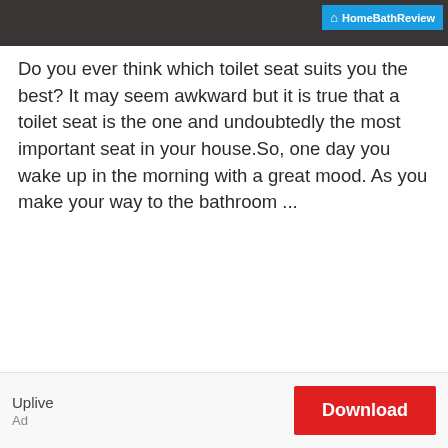[Figure (screenshot): Partial top image of bathroom products with HomeBathReview logo badge in top right corner on blue background]
Do you ever think which toilet seat suits you the best? It may seem awkward but it is true that a toilet seat is the one and undoubtedly the most important seat in your house.So, one day you wake up in the morning with a great mood. As you make your way to the bathroom ...
Read more
Luxury Bathroom Decor – 10
Uplive
Ad
Download